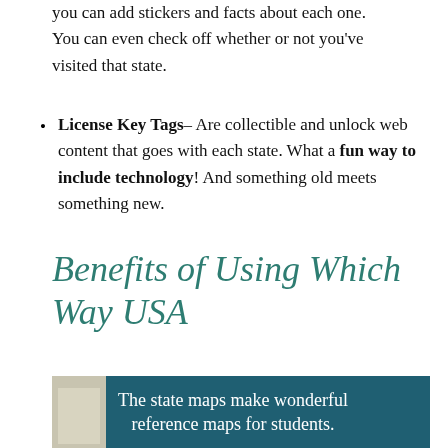you can add stickers and facts about each one. You can even check off whether or not you've visited that state.
License Key Tags– Are collectible and unlock web content that goes with each state. What a fun way to include technology! And something old meets something new.
Benefits of Using Which Way USA
[Figure (photo): Photo of state maps with teal/navy background overlay and white text: 'The state maps make wonderful reference maps for students.']